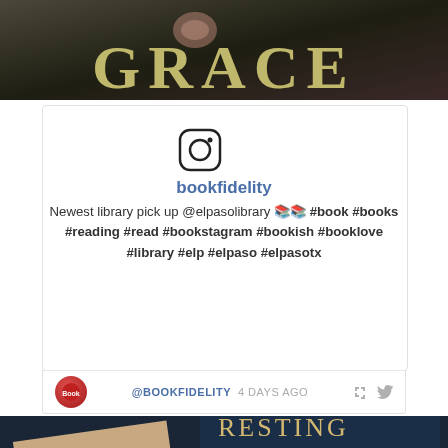[Figure (photo): Top portion of a book cover showing partial golden text 'GRACE' on a dark background with floral elements]
[Figure (logo): Instagram logo icon (camera outline)]
bookfidelity
Newest library pick up @elpasolibrary 📚📚 #book #books #reading #read #bookstagram #bookish #booklove #library #elp #elpaso #elpasotx
@BOOKFIDELITY 4 DAYS AGO
[Figure (photo): Two books photographed from above on a dark blue surface: a book titled partially visible as 'WOMAN...ATING' with a red 50% off badge, and a book by Camilla Sten 'The Resting...' with a blue 20% off badge]